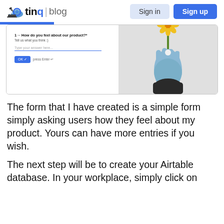tina|blog — Sign in / Sign up navigation
[Figure (screenshot): Screenshot of a Typeform-style form asking 'How do you feel about our product?' with a text input field, OK button, and a decorative photo of a hand-shaped vase holding a yellow flower]
The form that I have created is a simple form simply asking users how they feel about my product. Yours can have more entries if you wish.
The next step will be to create your Airtable database. In your workplace, simply click on